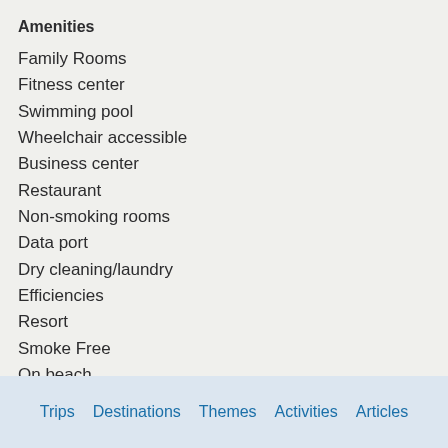Amenities
Family Rooms
Fitness center
Swimming pool
Wheelchair accessible
Business center
Restaurant
Non-smoking rooms
Data port
Dry cleaning/laundry
Efficiencies
Resort
Smoke Free
On beach
Trips  Destinations  Themes  Activities  Articles